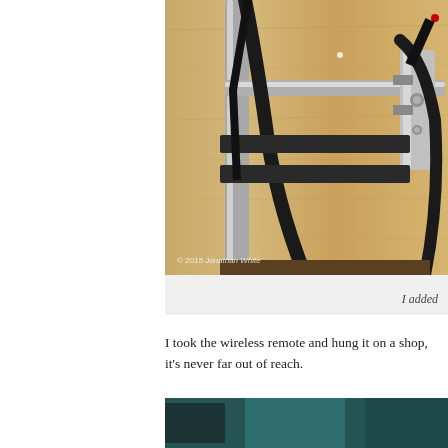[Figure (photo): Close-up photo of a mechanical arm mount with metal tubes, black cables and hardware attached to a wooden wall/shelf. Watermark reads '© 2015 Jonathan White'. Caption reads 'I added']
I took the wireless remote and hung it on a shop, it's never far out of reach.
[Figure (photo): Partial view of a second photo at the bottom of the page, showing a dark and teal-colored scene, partially visible.]